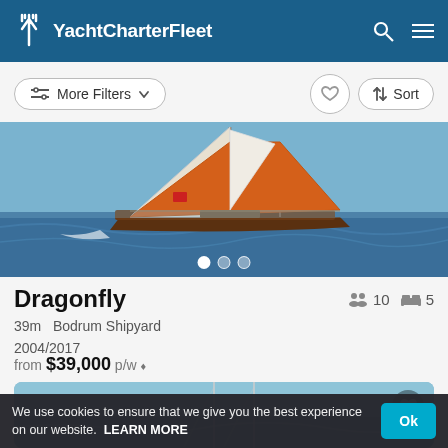YachtCharterFleet
More Filters  Sort
[Figure (photo): Sailing yacht Dragonfly underway on blue sea with orange and white sails.]
Dragonfly
10 guests  5 cabins
39m  Bodrum Shipyard
2004/2017
from $39,000 p/w
[Figure (photo): Partial view of a second sailing yacht on calm water.]
We use cookies to ensure that we give you the best experience on our website. LEARN MORE  Ok